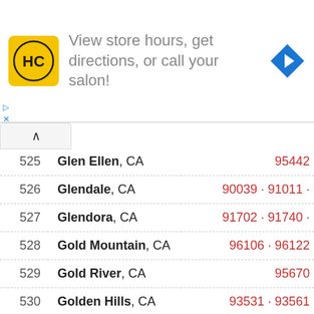[Figure (other): HC salon advertisement banner: logo with HC initials on yellow background, text 'View store hours, get directions, or call your salon!', blue navigation arrow icon on right]
| # | City | ZIP |
| --- | --- | --- |
| 525 | Glen Ellen, CA | 95442 |
| 526 | Glendale, CA | 90039 · 91011 · |
| 527 | Glendora, CA | 91702 · 91740 · |
| 528 | Gold Mountain, CA | 96106 · 96122 |
| 529 | Gold River, CA | 95670 |
| 530 | Golden Hills, CA | 93531 · 93561 |
| 531 | Goleta, CA | 93111 · 93117 |
| 532 | Gonzales, CA | 93908 · 93926 |